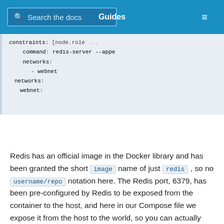Search the docs | Guides
[Figure (screenshot): Code block showing YAML docker-compose configuration with constraints, command, networks, and webnet entries]
Redis has an official image in the Docker library and has been granted the short image name of just redis , so no username/repo notation here. The Redis port, 6379, has been pre-configured by Redis to be exposed from the container to the host, and here in our Compose file we expose it from the host to the world, so you can actually enter the IP for any of your nodes into Redis Desktop Manager and manage this Redis